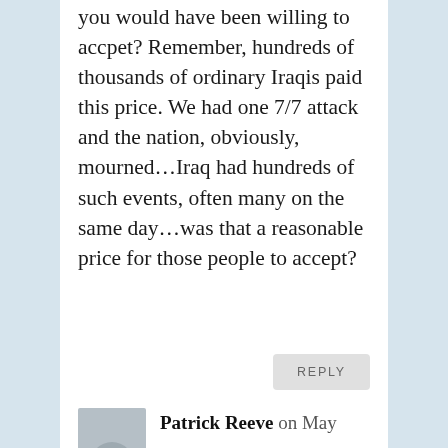you would have been willing to accpet? Remember, hundreds of thousands of ordinary Iraqis paid this price. We had one 7/7 attack and the nation, obviously, mourned…Iraq had hundreds of such events, often many on the same day…was that a reasonable price for those people to accept?
REPLY
Patrick Reeve on May